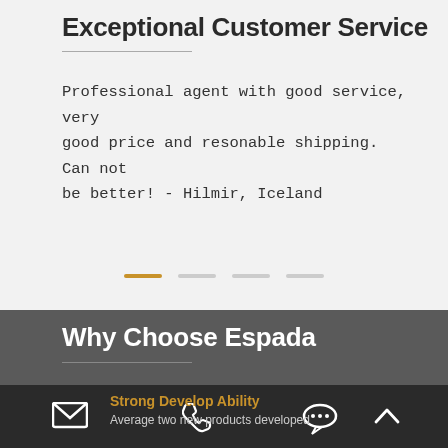Exceptional Customer Service
Professional agent with good service, very good price and resonable shipping. Can not be better! - Hilmir, Iceland
[Figure (other): Slider pagination dots: one active (amber/orange) and three inactive (light gray) horizontal dashes indicating carousel position]
Why Choose Espada
Strong Develop Ability
Average two new products developed
Email icon | Phone icon | Chat icon | Up/scroll icon